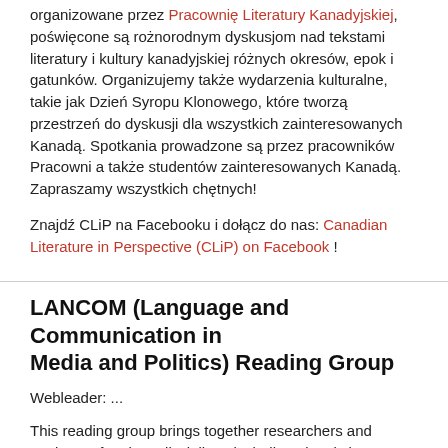organizowane przez Pracownię Literatury Kanadyjskiej, poświęcone są rożnorodnym dyskusjom nad tekstami literatury i kultury kanadyjskiej różnych okresów, epok i gatunków. Organizujemy także wydarzenia kulturalne, takie jak Dzień Syropu Klonowego, które tworzą przestrzeń do dyskusji dla wszystkich zainteresowanych Kanadą. Spotkania prowadzone są przez pracowników Pracowni a także studentów zainteresowanych Kanadą. Zapraszamy wszystkich chętnych!
Znajdź CLiP na Facebooku i dołącz do nas: Canadian Literature in Perspective (CLiP) on Facebook !
LANCOM (Language and Communication in Media and Politics) Reading Group
Webleader: ...
This reading group brings together researchers and students of various disciplines including Linguistics, Political Sciences, Social Sciences, Communication studies and Journalism studies who are interested in applying critically discursive analytical